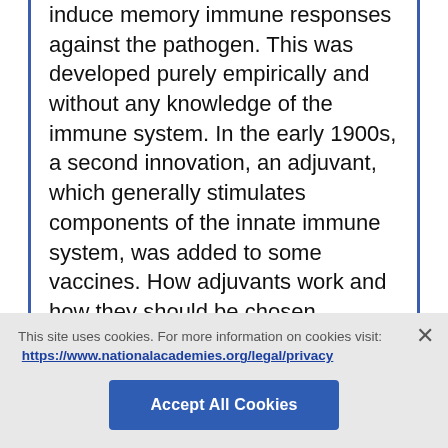induce memory immune responses against the pathogen. This was developed purely empirically and without any knowledge of the immune system. In the early 1900s, a second innovation, an adjuvant, which generally stimulates components of the innate immune system, was added to some vaccines. How adjuvants work and how they should be chosen remains poorly understood, resulting in many failures.

Thus, although vaccination has been a great success, important challenges remain. Broadly effective vaccines do not exist for serious
This site uses cookies. For more information on cookies visit: https://www.nationalacademies.org/legal/privacy
Accept All Cookies